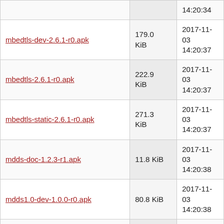| Filename | Size | Date |
| --- | --- | --- |
| (partial top row) |  | 14:20:34 |
| mbedtls-dev-2.6.1-r0.apk | 179.0 KiB | 2017-11-03 14:20:37 |
| mbedtls-2.6.1-r0.apk | 222.9 KiB | 2017-11-03 14:20:37 |
| mbedtls-static-2.6.1-r0.apk | 271.3 KiB | 2017-11-03 14:20:37 |
| mdds-doc-1.2.3-r1.apk | 11.8 KiB | 2017-11-03 14:20:38 |
| mdds1.0-dev-1.0.0-r0.apk | 80.8 KiB | 2017-11-03 14:20:38 |
| mbedtls-utils-2.6.1-r0.apk | 192.2 KiB | 2017-11-03 14:20:38 |
| mdds1.0-doc-1.0.0-r0.apk | 9.4 KiB | 2017-11-03 14:20:38 |
| mdds-1.2.3-r1.apk | 1.1 KiB | 2017-11-03 14:20:38 |
| mdds1.0-1.0.0-r0.apk | 1.1 KiB | 2017-11-03 14:20:38 |
| mediainfo-0.7.99-r0.apk | 27.3 KiB | 2017-11-03 14:20:38 |
| mdds-dev-1.2.3-r1.apk | 99.0 KiB | 2017-11-03 (partial) |